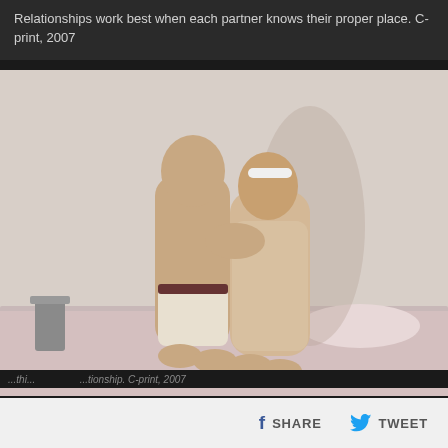Relationships work best when each partner knows their proper place. C-print, 2007
[Figure (photo): Photograph of two figures kissing while kneeling on a bed. One figure is shirtless, the other wears a beige bodysuit and white hair accessory. The image is styled as a fine art C-print from 2007.]
...thi... ...tionship. C-print, 2007
SHARE
TWEET